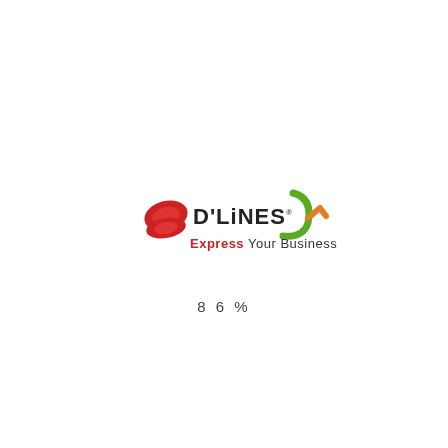[Figure (logo): D'LINES logo with red oval/stripe graphic on left, bold text 'D'LINES' in dark with registered trademark symbol, green and orange swoosh/checkmark graphic on right, and tagline 'Express Your Business...' in red below]
8 6 %